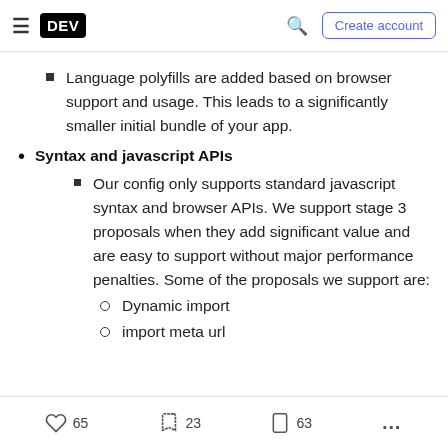DEV | Create account
Language polyfills are added based on browser support and usage. This leads to a significantly smaller initial bundle of your app.
Syntax and javascript APIs
Our config only supports standard javascript syntax and browser APIs. We support stage 3 proposals when they add significant value and are easy to support without major performance penalties. Some of the proposals we support are:
Dynamic import
import meta url
65  23  63  ...